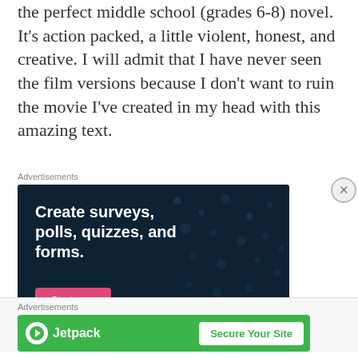the perfect middle school (grades 6-8) novel. It’s action packed, a little violent, honest, and creative. I will admit that I have never seen the film versions because I don’t want to ruin the movie I’ve created in my head with this amazing text.
Advertisements
[Figure (infographic): Dark navy background advertisement banner with decorative dots pattern. Bold white text reads 'Create surveys, polls, quizzes, and forms.' with a pink 'Start now' button.]
Advertisements
[Figure (infographic): Green banner advertisement for Jetpack with logo on left and 'Secure Your Site' button on right.]